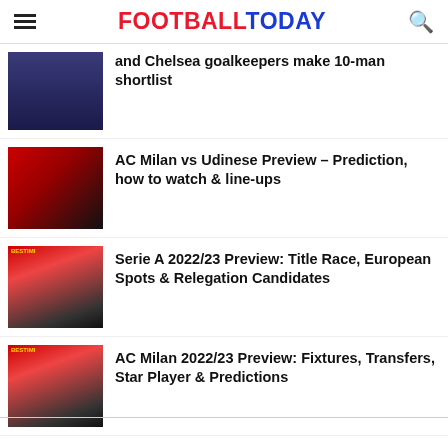FOOTBALLTODAY
and Chelsea goalkeepers make 10-man shortlist
AC Milan vs Udinese Preview – Prediction, how to watch & line-ups
Serie A 2022/23 Preview: Title Race, European Spots & Relegation Candidates
AC Milan 2022/23 Preview: Fixtures, Transfers, Star Player & Predictions